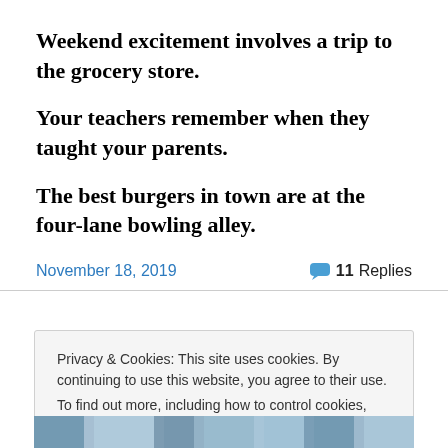Weekend excitement involves a trip to the grocery store.
Your teachers remember when they taught your parents.
The best burgers in town are at the four-lane bowling alley.
November 18, 2019   11 Replies
Privacy & Cookies: This site uses cookies. By continuing to use this website, you agree to their use. To find out more, including how to control cookies, see here: Cookie Policy
Close and accept